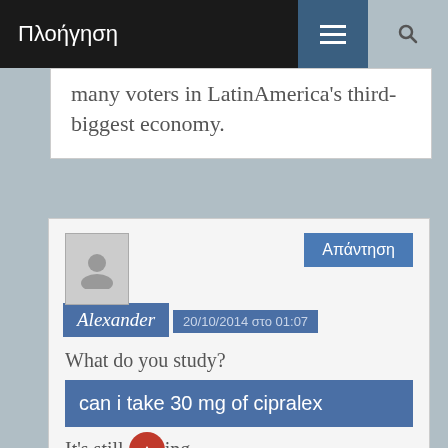Πλοήγηση
many voters in LatinAmerica's third-biggest economy.
Alexander
20/10/2014 στο 01:07
What do you study?
can i take 30 mg of cipralex
It's still … ing …